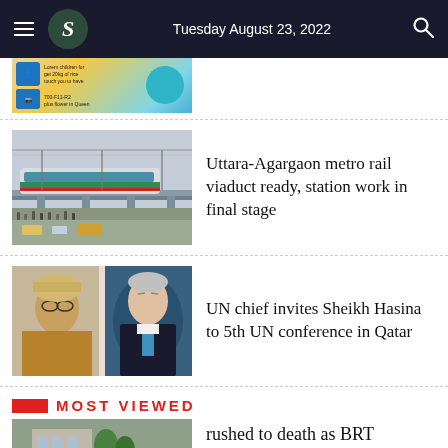Tuesday August 23, 2022
[Figure (photo): Partial view of a colorful advertisement image at the top]
[Figure (photo): Metro rail train on elevated track in Uttara-Agargaon corridor]
Uttara-Agargaon metro rail viaduct ready, station work in final stage
[Figure (photo): Split photo: Sheikh Hasina on left, UN Secretary-General Antonio Guterres on right]
UN chief invites Sheikh Hasina to 5th UN conference in Qatar
MOST VIEWED
[Figure (photo): Partial photo of a building or accident scene for Most Viewed section]
rushed to death as BRT